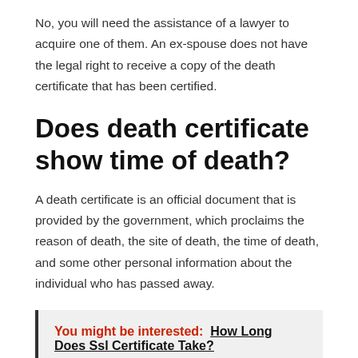No, you will need the assistance of a lawyer to acquire one of them. An ex-spouse does not have the legal right to receive a copy of the death certificate that has been certified.
Does death certificate show time of death?
A death certificate is an official document that is provided by the government, which proclaims the reason of death, the site of death, the time of death, and some other personal information about the individual who has passed away.
You might be interested: How Long Does Ssl Certificate Take?
Do you need a death certificate for